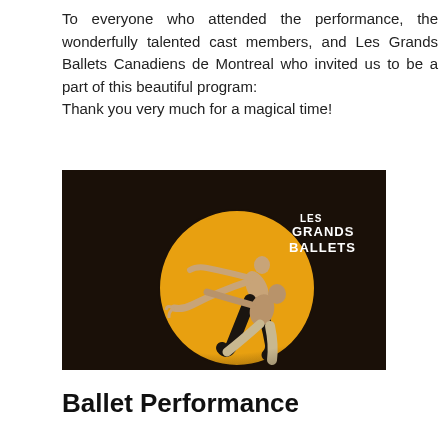To everyone who attended the performance, the wonderfully talented cast members, and Les Grands Ballets Canadiens de Montreal who invited us to be a part of this beautiful program:
Thank you very much for a magical time!
[Figure (photo): Two ballet dancers performing a dramatic leaping pose against a dark background with a large golden circle. The upper dancer is airborne with arms extended forward, wearing black pants. A second dancer is below, lunging forward. Text in upper right reads 'LES GRANDS BALLETS'.]
Ballet Performance